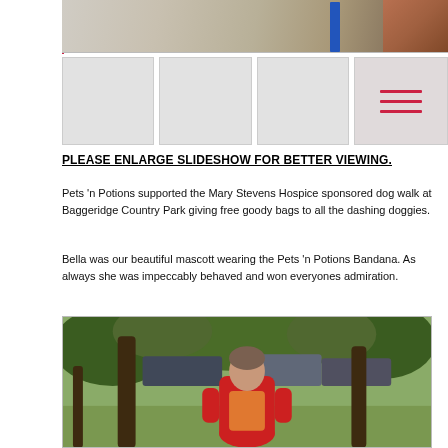[Figure (photo): Top portion of a slideshow showing pavement/brickwork area with a blue post and brick wall, plus thumbnail images below including a pink/red overlay with lines on the rightmost thumbnail]
PLEASE ENLARGE SLIDESHOW FOR BETTER VIEWING.
Pets 'n Potions supported the Mary Stevens Hospice sponsored dog walk at Baggeridge Country Park giving free goody bags to all the dashing doggies.
Bella was our beautiful mascott wearing the Pets 'n Potions Bandana. As always she was impeccably behaved and won everyones admiration.
[Figure (photo): A woman wearing a red/pink jacket standing outdoors among trees with cars parked in the background, green foliage visible]